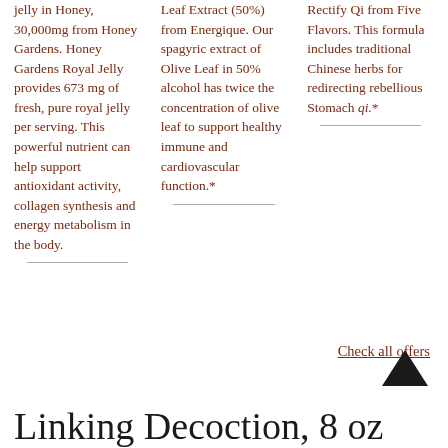jelly in Honey, 30,000mg from Honey Gardens. Honey Gardens Royal Jelly provides 673 mg of fresh, pure royal jelly per serving. This powerful nutrient can help support antioxidant activity, collagen synthesis and energy metabolism in the body.
Leaf Extract (50%) from Energique. Our spagyric extract of Olive Leaf in 50% alcohol has twice the concentration of olive leaf to support healthy immune and cardiovascular function.*
Rectify Qi from Five Flavors. This formula includes traditional Chinese herbs for redirecting rebellious Stomach qi.*
Check all offers
Linking Decoction, 8 oz